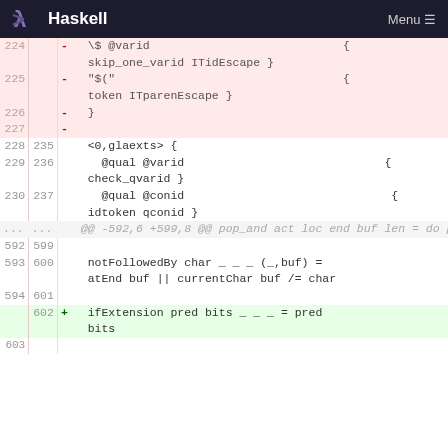Haskell  Menu
| old | new | sign | code |
| --- | --- | --- | --- |
| 224 |  | - | \$ @varid                             { |
|  |  |  | skip_one_varid ITidEscape } |
| 225 |  | - | "$("                                  { |
|  |  |  | token ITparenEscape } |
| 226 |  | - | } |
| 227 |  | - |  |
| 228 | 235 |  | <0,glaexts> { |
| 229 | 236 |  |   @qual @varid                        { |
|  |  |  | check_qvarid } |
| 230 | 237 |  |   @qual @conid                        { |
|  |  |  | idtoken qconid } |
| ... | ... |  | @@ -592,6 +599,8 @@ pop_and act loc end buf len = do popLexState; act loc end buf len |
| 592 | 599 |  |  |
| 593 | 600 |  | notFollowedBy char _ _ _ (_,buf) = |
|  |  |  | atEnd buf || currentChar buf /= char |
| 594 | 601 |  |  |
|  | 602 | + | ifExtension pred bits _ _ _ = pred |
|  |  |  | bits |